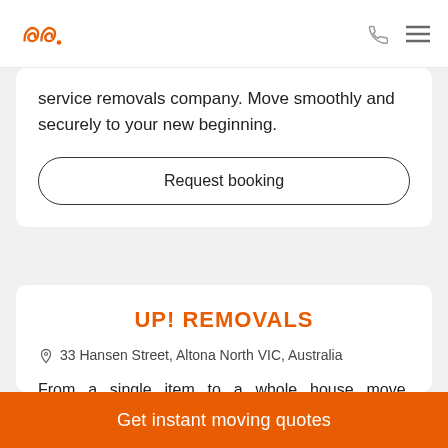Logo navigation bar with phone and menu icons
service removals company. Move smoothly and securely to your new beginning.
Request booking
UP! REMOVALS
33 Hansen Street, Altona North VIC, Australia
From a single item to a whole house move, apartment buildings or massive warehouses, UP! Removals team will be always happy to help you.
Get instant moving quotes